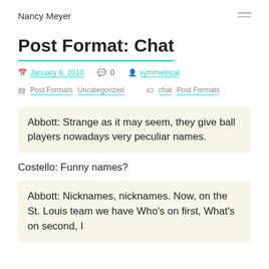Nancy Meyer
Post Format: Chat
January 8, 2010   0   symmetrical
Post Formats   Uncategorized     chat   Post Formats
Abbott: Strange as it may seem, they give ball players nowadays very peculiar names.
Costello: Funny names?
Abbott: Nicknames, nicknames. Now, on the St. Louis team we have Who's on first, What's on second, I